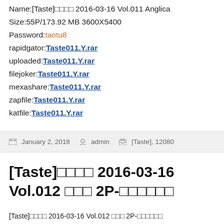Name:[Taste]□□□□ 2016-03-16 Vol.011 Anglica
Size:55P/173.92 MB 3600X5400
Password:taotu8
rapidgator:Taste011.Y.rar
uploaded:Taste011.Y.rar
filejoker:Taste011.Y.rar
mexashare:Taste011.Y.rar
zapfile:Taste011.Y.rar
katfile:Taste011.Y.rar
January 2, 2018   admin   [Taste], 12080
[Taste]□□□□ 2016-03-16 Vol.012 □□□ 2P-□□□□□□
[Taste]□□□□ 2016-03-16 Vol.012 □□□ 2P-□□□□□□